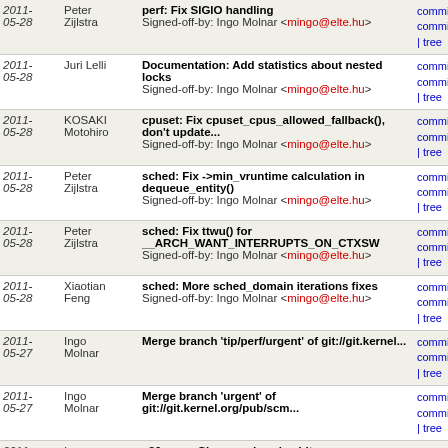| Date | Author | Commit message | Links |
| --- | --- | --- | --- |
| 2011-
05-28 | Peter
Zijlstra | perf: Fix SIGIO handling
Signed-off-by: Ingo Molnar <mingo@elte.hu> | commit
commit
| tree |
| 2011-
05-28 | Juri Lelli | Documentation: Add statistics about nested locks
Signed-off-by: Ingo Molnar <mingo@elte.hu> | commit
commit
| tree |
| 2011-
05-28 | KOSAKI
Motohiro | cpuset: Fix cpuset_cpus_allowed_fallback(), don't update...
Signed-off-by: Ingo Molnar <mingo@elte.hu> | commit
commit
| tree |
| 2011-
05-28 | Peter
Zijlstra | sched: Fix ->min_vruntime calculation in dequeue_entity()
Signed-off-by: Ingo Molnar <mingo@elte.hu> | commit
commit
| tree |
| 2011-
05-28 | Peter
Zijlstra | sched: Fix ttwu() for __ARCH_WANT_INTERRUPTS_ON_CTXSW
Signed-off-by: Ingo Molnar <mingo@elte.hu> | commit
commit
| tree |
| 2011-
05-28 | Xiaotian
Feng | sched: More sched_domain iterations fixes
Signed-off-by: Ingo Molnar <mingo@elte.hu> | commit
commit
| tree |
| 2011-
05-27 | Ingo
Molnar | Merge branch 'tip/perf/urgent' of git://git.kernel... | commit
commit
| tree |
| 2011-
05-27 | Ingo
Molnar | Merge branch 'urgent' of git://git.kernel.org/pub/scm... | commit
commit
| tree |
| 2011-
05-27 | Ingo
Molnar | x86, asm: Clean up desc.h a bit
Signed-off-by: Ingo Molnar <mingo@elte.hu> | commit
commit
| tree |
| 2011-
05-26 | KOSAKI
Motohiro | x86: Move do_page_fault()'s error path under unlikely()
Suggested-by: Ingo Molnar <mingo@elte.hu>
Signed-off-by: Ingo Molnar <mingo@elte.hu> | commit
commit
| tree |
| 2011- | Ingo | Merge branch 'linus' into x86/urgent | commit |